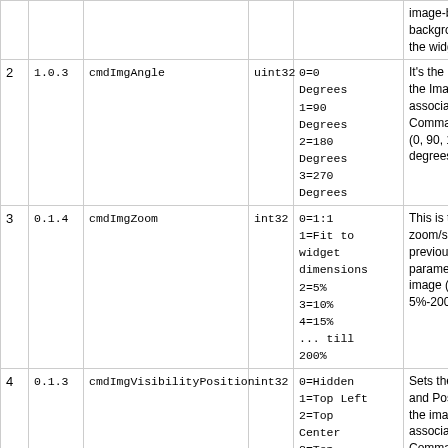| # | Version | Name | Type | Values | Description |
| --- | --- | --- | --- | --- | --- |
|  |  |  |  |  | image-bas background the widget |
| 2 | 1.0.3 | cmdImgAngle | uint32 | 0=0 Degrees
1=90 Degrees
2=180 Degrees
3=270 Degrees | It's the rota the Image associated Command (0, 90, 180 degrees) |
| 3 | 0.1.4 | cmdImgZoom | int32 | 0=1:1
1=Fit to widget dimensions
2=5%
3=10%
4=15%
... till 200% | This is the zoom/scal previous parameter image (1:1 5%-200%) |
| 4 | 0.1.3 | cmdImgVisibilityPosition | int32 | 0=Hidden
1=Top Left
2=Top Center
3=Top Right
4=Center Left
5=Center
6=Center | Sets the V and Positi the image associated Command (Both for Snippets a Beecons) |